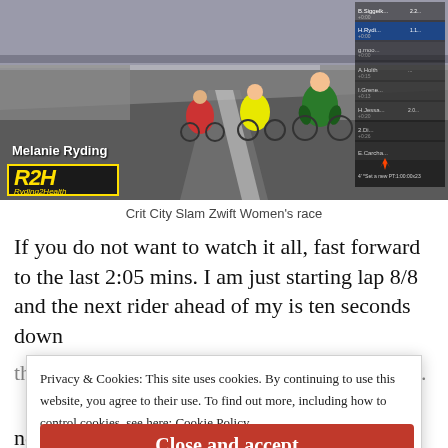[Figure (screenshot): Screenshot of Zwift virtual cycling race 'Crit City Slam Zwift Women's race' showing cyclists racing on a virtual road with a leaderboard on the right side. Melanie Ryding name and R2H Ryding2Health logo overlaid on bottom left.]
Crit City Slam Zwift Women's race
If you do not want to watch it all, fast forward to the last 2:05 mins. I am just starting lap 8/8 and the next rider ahead of my is ten seconds down
Privacy & Cookies: This site uses cookies. By continuing to use this website, you agree to their use. To find out more, including how to control cookies, see here: Cookie Policy
Close and accept
nerve thing started. Now, I have been back racing